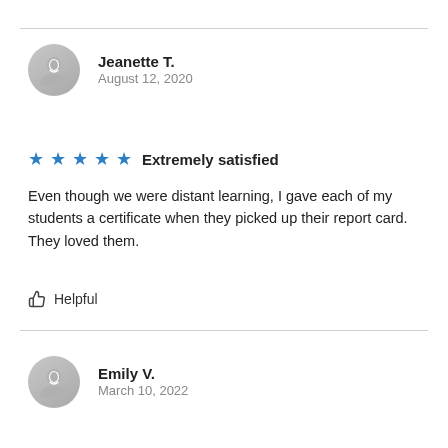Jeanette T.
August 12, 2020
★★★★★ Extremely satisfied
Even though we were distant learning, I gave each of my students a certificate when they picked up their report card. They loved them.
👍 Helpful
Emily V.
March 10, 2022